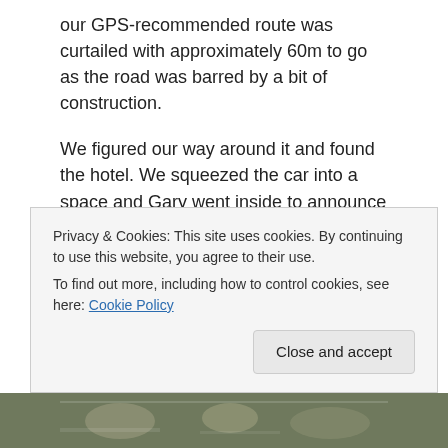our GPS-recommended route was curtailed with approximately 60m to go as the road was barred by a bit of construction.
We figured our way around it and found the hotel. We squeezed the car into a space and Gary went inside to announce our arrival. I stayed with the car as I was not sure if we were legally parked and we did not want to start off our trip with a parking drama! A man standing by showed us where to park and we checked in.
Our first impression could not...
Privacy & Cookies: This site uses cookies. By continuing to use this website, you agree to their use.
To find out more, including how to control cookies, see here: Cookie Policy
[Figure (photo): Partial photo strip at bottom of page showing food/dining scene]